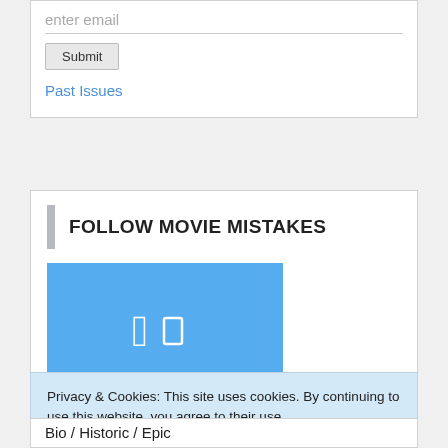enter email
Submit
Past Issues
FOLLOW MOVIE MISTAKES
[Figure (logo): Twitter/social media button in blue with a white bird/icon symbol]
Privacy & Cookies: This site uses cookies. By continuing to use this website, you agree to their use.
To find out more, including how to control cookies, see here: Cookie Policy
Close and accept
Bio / Historic / Epic